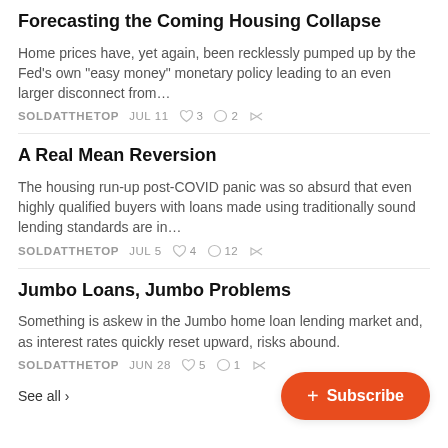Forecasting the Coming Housing Collapse
Home prices have, yet again, been recklessly pumped up by the Fed's own "easy money" monetary policy leading to an even larger disconnect from…
SOLDATTHETOP   JUL 11   ♡ 3   ○ 2   ↗
A Real Mean Reversion
The housing run-up post-COVID panic was so absurd that even highly qualified buyers with loans made using traditionally sound lending standards are in…
SOLDATTHETOP   JUL 5   ♡ 4   ○ 12   ↗
Jumbo Loans, Jumbo Problems
Something is askew in the Jumbo home loan lending market and, as interest rates quickly reset upward, risks abound.
SOLDATTHETOP   JUN 28   ♡ 5   ○ 1   ↗
See all ›